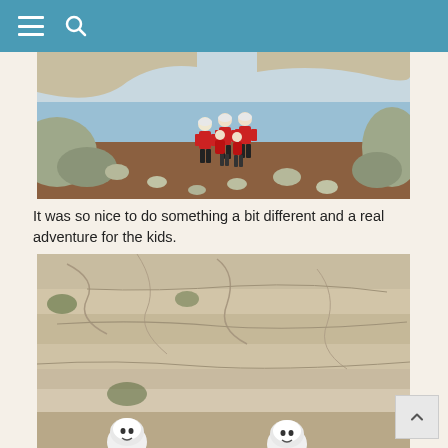Navigation header with hamburger menu and search icon
[Figure (photo): Group of people in red jackets and white helmets standing on rocky coastal terrain beside the sea]
It was so nice to do something a bit different and a real adventure for the kids.
[Figure (photo): Close-up of rocky cliff face with people wearing white helmets visible at the bottom]